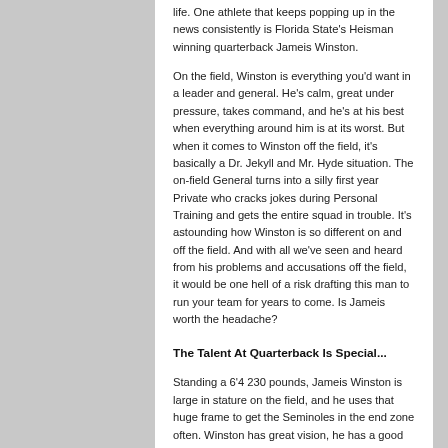life. One athlete that keeps popping up in the news consistently is Florida State's Heisman winning quarterback Jameis Winston.
On the field, Winston is everything you'd want in a leader and general. He's calm, great under pressure, takes command, and he's at his best when everything around him is at its worst. But when it comes to Winston off the field, it's basically a Dr. Jekyll and Mr. Hyde situation. The on-field General turns into a silly first year Private who cracks jokes during Personal Training and gets the entire squad in trouble. It's astounding how Winston is so different on and off the field. And with all we've seen and heard from his problems and accusations off the field, it would be one hell of a risk drafting this man to run your team for years to come. Is Jameis worth the headache?
The Talent At Quarterback Is Special...
Standing a 6'4 230 pounds, Jameis Winston is large in stature on the field, and he uses that huge frame to get the Seminoles in the end zone often. Winston has great vision, he has a good arm (his